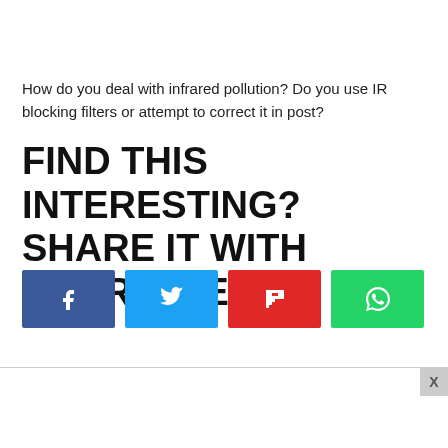How do you deal with infrared pollution? Do you use IR blocking filters or attempt to correct it in post?
FIND THIS INTERESTING? SHARE IT WITH YOUR FRIENDS!
[Figure (infographic): Four social share buttons: Facebook (blue), Twitter (light blue), Flipboard (red), WhatsApp (green), each with their respective icons in white.]